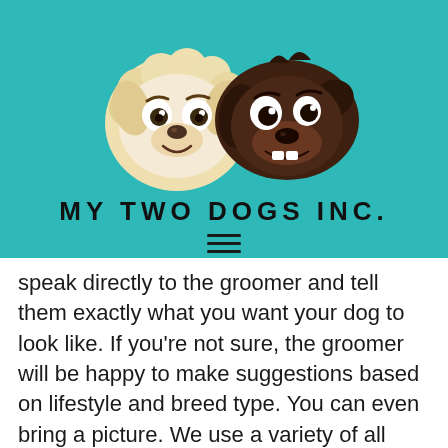[Figure (logo): Cartoon illustration of two dog faces side by side on a teal background — a light fluffy dog on the left and a dark brown dog on the right — above the text MY TWO DOGS INC.]
MY TWO DOGS INC.
speak directly to the groomer and tell them exactly what you want your dog to look like. If you're not sure, the groomer will be happy to make suggestions based on lifestyle and breed type. You can even bring a picture. We use a variety of all natural shampoos and conditioners, so your dog's skin and coat is getting the best care without harsh